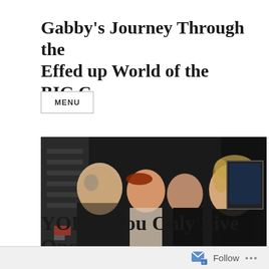Gabby's Journey Through the Effed up World of the BIG C
MENU
[Figure (photo): Family photo with a man, two young children, and a woman smiling together in a dark setting]
YOLO (You Only Live Once!)
Follow ...